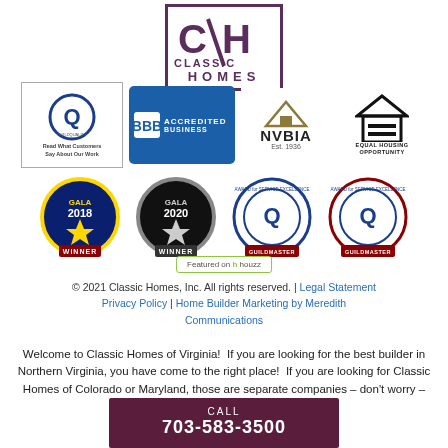[Figure (logo): Classic Homes logo with C/H monogram in a box and CLASSIC HOMES text in dark purple]
[Figure (infographic): Row 1 of trust/award badges: GuildQuality Member (Read What Customers Say About Our Work), BBB Accredited Business, NVBIA Est. 1936, Equal Housing Opportunity]
[Figure (infographic): Row 2 of award badges: Gala 2018 Winner, Gala 2020 Winner, Guildmaster Award for Service Excellence x2, Featured on Houzz]
© 2021 Classic Homes, Inc. All rights reserved. | Legal Statement
Privacy Policy | Home Builder Marketing by Meredith Communications
Welcome to Classic Homes of Virginia!  If you are looking for the best builder in Northern Virginia, you have come to the right place!  If you are looking for Classic Homes of Colorado or Maryland, those are separate companies – don't worry – common
CALL
703-583-3500